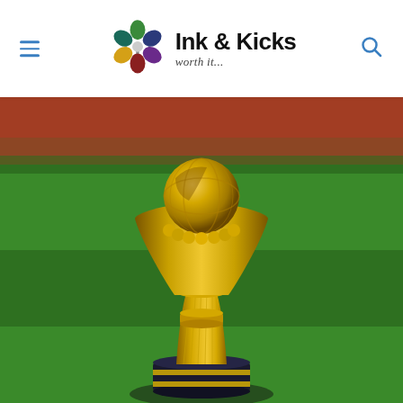Ink & Kicks — worth it...
[Figure (photo): A golden Africa Cup of Nations (AFCON) trophy displayed on a dark pedestal, photographed on a green football pitch background with blurred red stadium stands in the upper portion.]